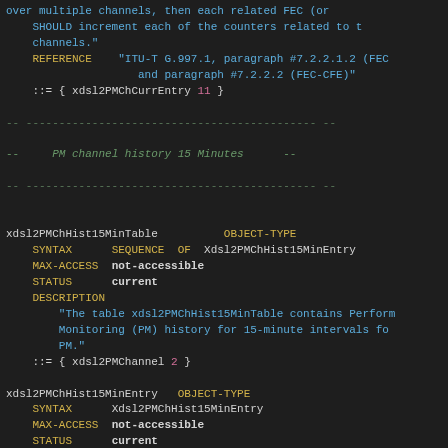over multiple channels, then each related FEC (or... SHOULD increment each of the counters related to those channels."
REFERENCE  "ITU-T G.997.1, paragraph #7.2.2.1.2 (FEC... and paragraph #7.2.2.2 (FEC-CFE)"
::= { xdsl2PMChCurrEntry 11 }
-- PM channel history 15 Minutes --
xdsl2PMChHist15MinTable OBJECT-TYPE
SYNTAX  SEQUENCE OF  Xdsl2PMChHist15MinEntry
MAX-ACCESS  not-accessible
STATUS  current
DESCRIPTION
"The table xdsl2PMChHist15MinTable contains Performance Monitoring (PM) history for 15-minute intervals for PM."
::= { xdsl2PMChannel 2 }
xdsl2PMChHist15MinEntry OBJECT-TYPE
SYNTAX  Xdsl2PMChHist15MinEntry
MAX-ACCESS  not-accessible
STATUS  current
DESCRIPTION
"One index of this table is an interface index where interface has an ifType of a DSL channel. A second index of this table is the transmission unit. The third index is the interval number."